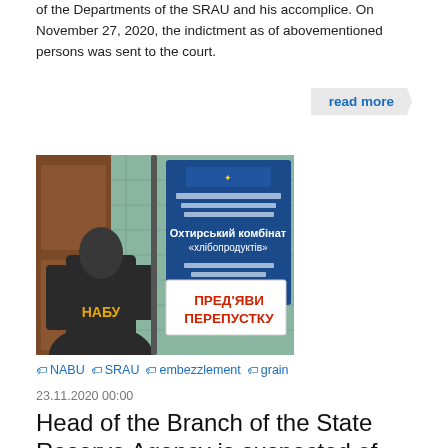of the Departments of the SRAU and his accomplice. On November 27, 2020, the indictment as of abovementioned persons was sent to the court.
read more
[Figure (photo): Photo of a person in a NABU jacket standing in front of a building entrance with a Ukrainian government sign and a sign reading ПРЕД'ЯВИ ПЕРЕПУСТКУ]
NABU
SRAU
embezzlement
grain
23.11.2020 00:00
Head of the Branch of the State Reserve Agency is suspected of UAH 2.8 million funds embezzlement